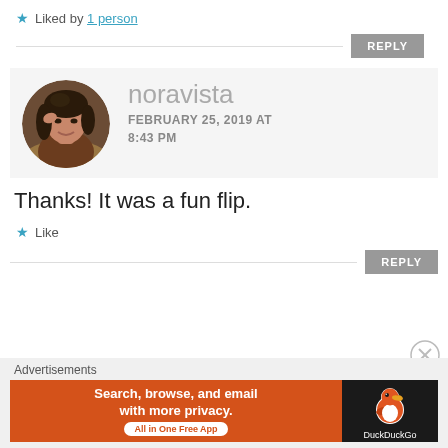★ Liked by 1 person
REPLY
[Figure (photo): Circular avatar photo of noravista — a woman with dark hair, smiling, resting head on hand]
noravista
FEBRUARY 25, 2019 AT 8:43 PM
Thanks! It was a fun flip.
★ Like
REPLY
Advertisements
[Figure (screenshot): DuckDuckGo advertisement banner: orange section with text 'Search, browse, and email with more privacy. All in One Free App' and dark section with DuckDuckGo duck logo]